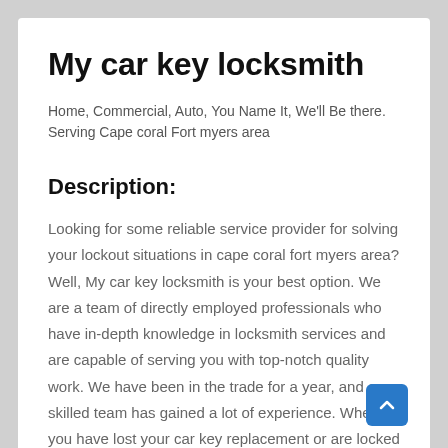My car key locksmith
Home, Commercial, Auto, You Name It, We'll Be there. Serving Cape coral Fort myers area
Description:
Looking for some reliable service provider for solving your lockout situations in cape coral fort myers area? Well, My car key locksmith is your best option. We are a team of directly employed professionals who have in-depth knowledge in locksmith services and are capable of serving you with top-notch quality work. We have been in the trade for a year, and our skilled team has gained a lot of experience. Whether you have lost your car key replacement or are locked out of your home